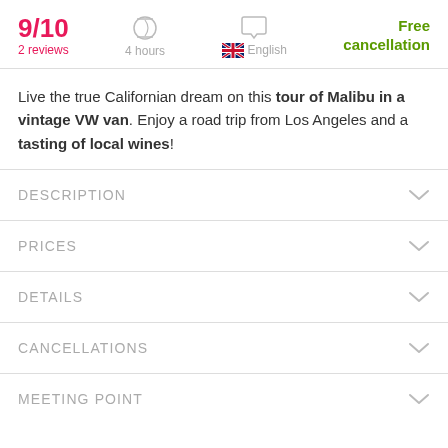9/10  2 reviews  4 hours  English  Free cancellation
Live the true Californian dream on this tour of Malibu in a vintage VW van. Enjoy a road trip from Los Angeles and a tasting of local wines!
DESCRIPTION
PRICES
DETAILS
CANCELLATIONS
MEETING POINT